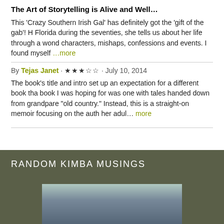The Art of Storytelling is Alive and Well...
This 'Crazy Southern Irish Gal' has definitely got the 'gift of the gab'! H Florida during the seventies, she tells us about her life through a wond characters, mishaps, confessions and events. I found myself ...more
By Tejas Janet · ★★★☆☆ · July 10, 2014
The book's title and intro set up an expectation for a different book tha book I was hoping for was one with tales handed down from grandpare "old country." Instead, this is a straight-on memoir focusing on the auth her adul... more
RANDOM KIMBA MUSINGS
[Figure (photo): Partial photo visible at the bottom of the page under the dark green banner section]